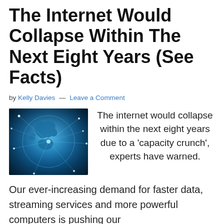The Internet Would Collapse Within The Next Eight Years (See Facts)
by Kelly Davies — Leave a Comment
[Figure (photo): Glowing blue digital globe with network connections overlay, representing the internet]
The internet would collapse within the next eight years due to a 'capacity crunch', experts have warned.
Our ever-increasing demand for faster data, streaming services and more powerful computers is pushing our